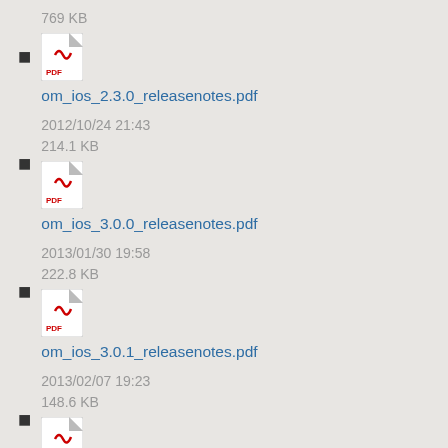769 KB
om_ios_2.3.0_releasenotes.pdf
2012/10/24 21:43
214.1 KB
om_ios_3.0.0_releasenotes.pdf
2013/01/30 19:58
222.8 KB
om_ios_3.0.1_releasenotes.pdf
2013/02/07 19:23
148.6 KB
om_ios_3.0.2_releasenotes.pdf